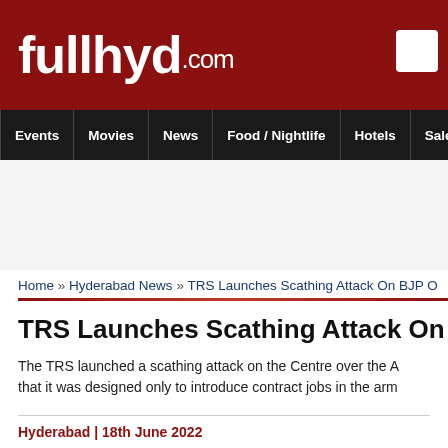fullhyd.com
Events | Movies | News | Food / Nightlife | Hotels | Sale
Home » Hyderabad News » TRS Launches Scathing Attack On BJP O
TRS Launches Scathing Attack On BJP Over A
The TRS launched a scathing attack on the Centre over the A that it was designed only to introduce contract jobs in the arm
Hyderabad | 18th June 2022